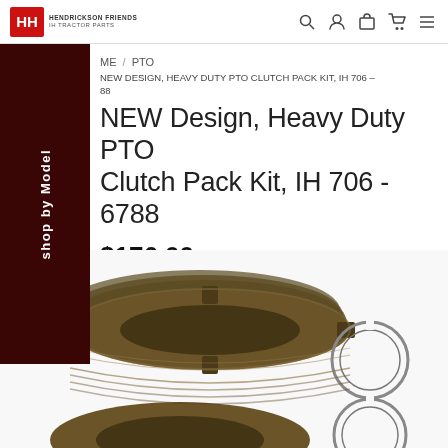IH Tractor Parts - shop navigation header
ME / PTO
NEW DESIGN, HEAVY DUTY PTO CLUTCH PACK KIT, IH 706 – 88
NEW Design, Heavy Duty PTO Clutch Pack Kit, IH 706 - 6788
$176.00
[Figure (photo): Stack of circular PTO clutch pack friction discs (dark brown/olive colored rings) arranged in a fan-like stack, with a snap ring visible to the right side, and another partial disc visible at the bottom of the frame. Product is for IH 706-6788 tractors.]